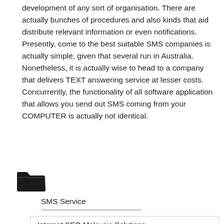development of any sort of organisation. There are actually bunches of procedures and also kinds that aid distribute relevant information or even notifications. Presently, come to the best suitable SMS companies is actually simple, given that several run in Australia. Nonetheless, it is actually wise to head to a company that delivers TEXT answering service at lesser costs. Concurrently, the functionality of all software application that allows you send out SMS coming from your COMPUTER is actually not identical.
[Figure (illustration): Open folder icon in dark/black color]
SMS Service
Internet SEO Malaysia Solutions
Cake Box Printing Malaysia Modification